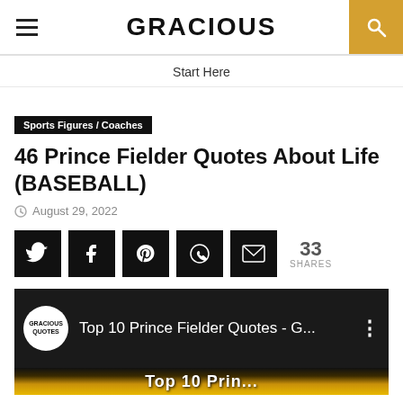GRACIOUS
Start Here
Sports Figures / Coaches
46 Prince Fielder Quotes About Life (BASEBALL)
August 29, 2022
[Figure (other): Social share buttons row: Twitter, Facebook, Pinterest, WhatsApp, Email icons, and 33 SHARES count]
[Figure (screenshot): YouTube video thumbnail showing 'Top 10 Prince Fielder Quotes - G...' with Gracious Quotes logo]